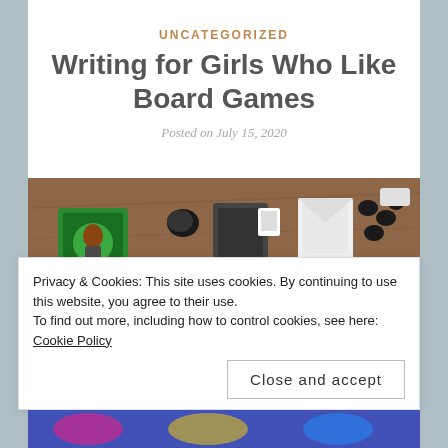UNCATEGORIZED
Writing for Girls Who Like Board Games
Posted on July 15, 2020
[Figure (photo): Overhead photo of a board game spread out on a wooden table, showing colorful board game components including cards, tokens, a blue illustrated board, and various game pieces.]
Privacy & Cookies: This site uses cookies. By continuing to use this website, you agree to their use.
To find out more, including how to control cookies, see here: Cookie Policy
Close and accept